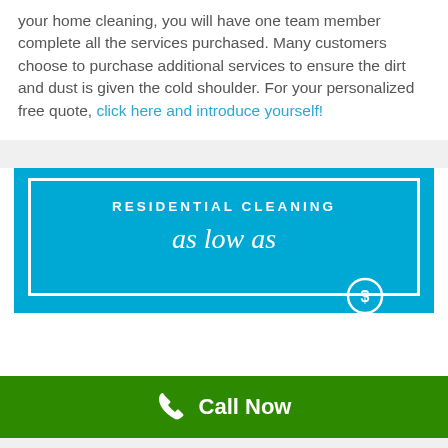your home cleaning, you will have one team member complete all the services purchased. Many customers choose to purchase additional services to ensure the dirt and dust is given the cold shoulder. For your personalized free quote, click here and introduce yourself!
[Figure (infographic): Blue banner with white border box containing 'RESIDENTIAL CLEANING' in bold uppercase letters and 'as low as' in cursive white script, with a partial circle icon at the bottom right]
Call Now